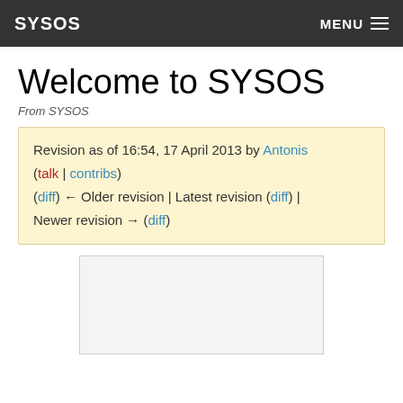SYSOS   MENU
Welcome to SYSOS
From SYSOS
Revision as of 16:54, 17 April 2013 by Antonis (talk | contribs) (diff) ← Older revision | Latest revision (diff) | Newer revision → (diff)
[Figure (other): Partially visible image placeholder at the bottom of the page]